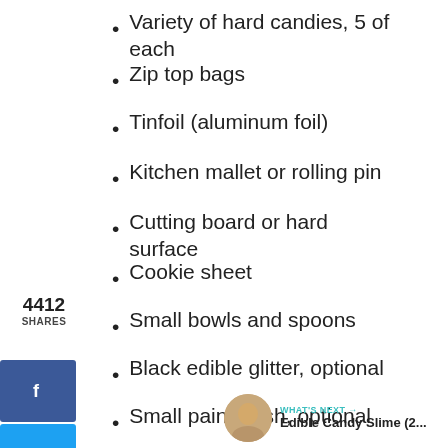Variety of hard candies, 5 of each
Zip top bags
Tinfoil (aluminum foil)
Kitchen mallet or rolling pin
Cutting board or hard surface
Cookie sheet
Small bowls and spoons
Black edible glitter, optional
Small paintbrush, optional
Get Ingredients
Powered by chicory
4412 SHARES
4.4K
WHAT'S NEXT → Edible Candy Slime (2...